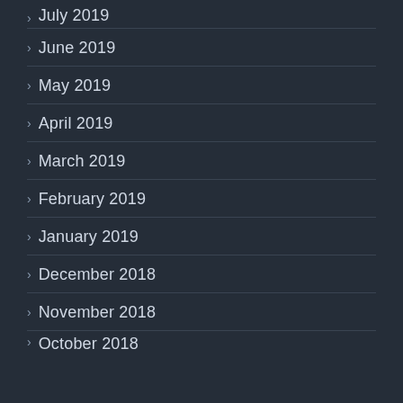> July 2019
> June 2019
> May 2019
> April 2019
> March 2019
> February 2019
> January 2019
> December 2018
> November 2018
> October 2018